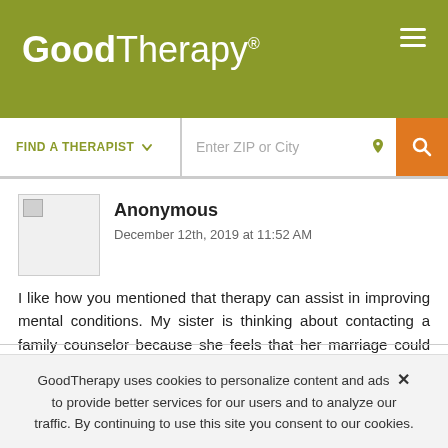GoodTherapy®
FIND A THERAPIST  ▾   Enter ZIP or City
Anonymous
December 12th, 2019 at 11:52 AM
I like how you mentioned that therapy can assist in improving mental conditions. My sister is thinking about contacting a family counselor because she feels that her marriage could be stronger. It seems like a good investment to seek a reputable professional who has the experience to help strengthen my sister's relationship.
GoodTherapy uses cookies to personalize content and ads to provide better services for our users and to analyze our traffic. By continuing to use this site you consent to our cookies.